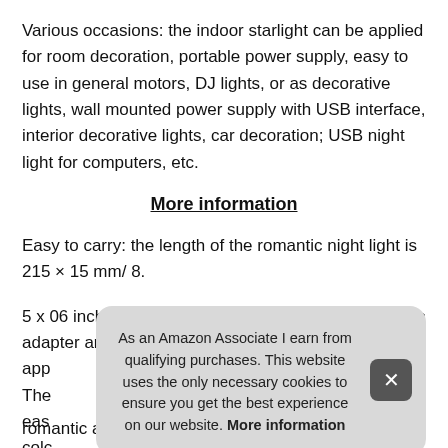Various occasions: the indoor starlight can be applied for room decoration, portable power supply, easy to use in general motors, DJ lights, or as decorative lights, wall mounted power supply with USB interface, interior decorative lights, car decoration; USB night light for computers, etc.
More information
Easy to carry: the length of the romantic night light is 215 × 15 mm/ 8.
5 x 06 inch, the android phone adapter and the type-c adapter are app The eas colc
As an Amazon Associate I earn from qualifying purchases. This website uses the only necessary cookies to ensure you get the best experience on our website. More information
romantic atmosphere for you, let your love not drop, bring